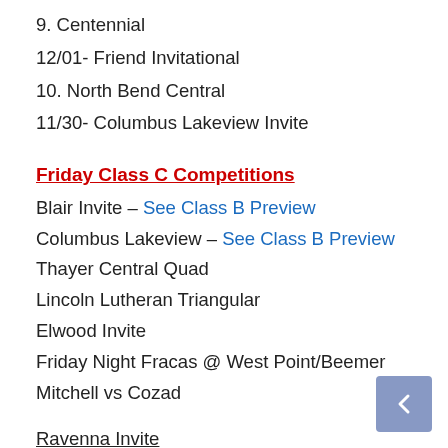9. Centennial
12/01- Friend Invitational
10. North Bend Central
11/30- Columbus Lakeview Invite
Friday Class C Competitions
Blair Invite – See Class B Preview
Columbus Lakeview – See Class B Preview
Thayer Central Quad
Lincoln Lutheran Triangular
Elwood Invite
Friday Night Fracas @ West Point/Beemer
Mitchell vs Cozad
Ravenna Invite
Teams:
D#5 Amherst, Ansley/Litchfield, Arcadia/Loup